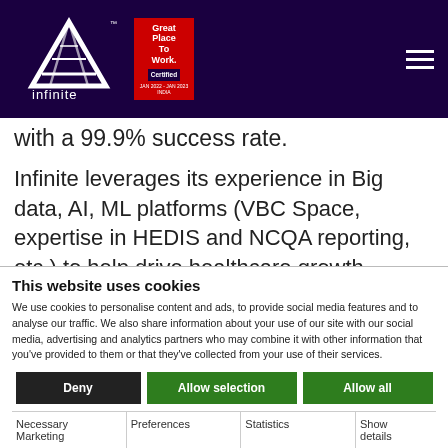[Figure (logo): Infinite company logo (white triangular/abstract mark with 'infinite' text) and red 'Great Place To Work Certified' badge on dark purple navigation bar]
with a 99.9% success rate.
Infinite leverages its experience in Big data, AI, ML platforms (VBC Space, expertise in HEDIS and NCQA reporting, etc.) to help drive healthcare growth. Infinite's deep understanding of
This website uses cookies
We use cookies to personalise content and ads, to provide social media features and to analyse our traffic. We also share information about your use of our site with our social media, advertising and analytics partners who may combine it with other information that you've provided to them or that they've collected from your use of their services.
Deny | Allow selection | Allow all
Necessary   Preferences   Statistics   Show details
Marketing